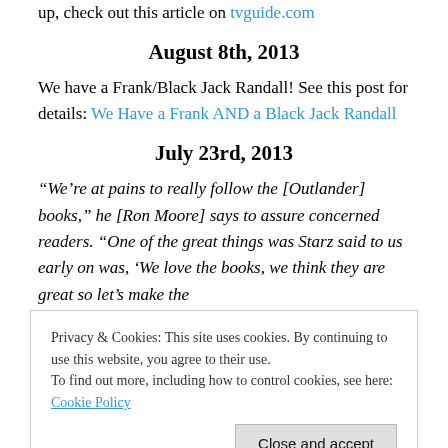up, check out this article on tvguide.com
August 8th, 2013
We have a Frank/Black Jack Randall! See this post for details: We Have a Frank AND a Black Jack Randall
July 23rd, 2013
“We’re at pains to really follow the [Outlander] books,” he [Ron Moore] says to assure concerned readers. “One of the great things was Starz said to us early on was, ‘We love the books, we think they are great so let’s make the
Privacy & Cookies: This site uses cookies. By continuing to use this website, you agree to their use.
To find out more, including how to control cookies, see here: Cookie Policy
don’t really care about the book. We bought it for the cover